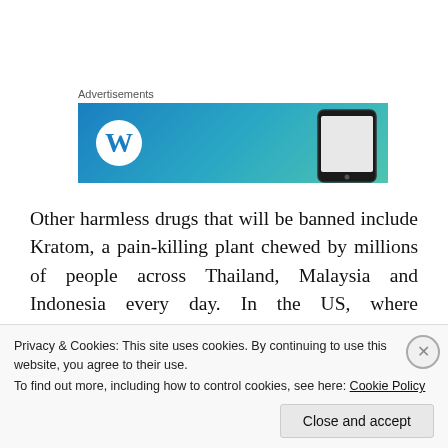Advertisements
[Figure (screenshot): WordPress advertisement banner with blue/teal gradient background, WordPress logo (white 'W' in circle) on the left, and a smartphone mockup on the right]
Other harmless drugs that will be banned include Kratom, a pain-killing plant chewed by millions of people across Thailand, Malaysia and Indonesia every day. In the US, where prescription painkillers are one of the deadliest drugs around, patients have started taking Kratom to wean themselves off more addictive
Privacy & Cookies: This site uses cookies. By continuing to use this website, you agree to their use.
To find out more, including how to control cookies, see here: Cookie Policy
Close and accept